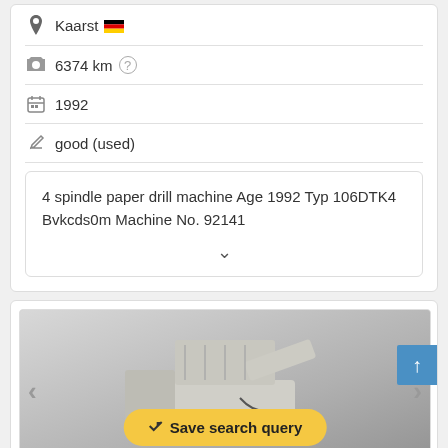Kaarst 🇩🇪
6374 km
1992
good (used)
4 spindle paper drill machine Age 1992 Typ 106DTK4 Bvkcds0m Machine No. 92141
[Figure (photo): Photo of a 4 spindle paper drill machine in white color, shown on a light grey background. Navigation arrows on left and right sides. A yellow 'Save search query' button overlays the image.]